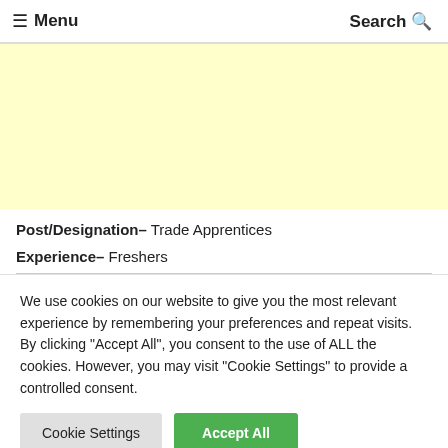≡ Menu   Search Q
[Figure (other): Yellow/cream colored advertisement banner placeholder]
Post/Designation- Trade Apprentices
Experience- Freshers
We use cookies on our website to give you the most relevant experience by remembering your preferences and repeat visits. By clicking "Accept All", you consent to the use of ALL the cookies. However, you may visit "Cookie Settings" to provide a controlled consent.